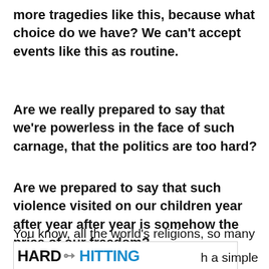more tragedies like this, because what choice do we have? We can’t accept events like this as routine.
Are we really prepared to say that we’re powerless in the face of such carnage, that the politics are too hard?
Are we prepared to say that such violence visited on our children year after year after year is somehow the price of our freedom?
You know, all the world’s religions, so many of
[Figure (other): Hard Hitting banner/advertisement image with bold text reading HARD HITTING and a bullet/gun graphic]
h a simple